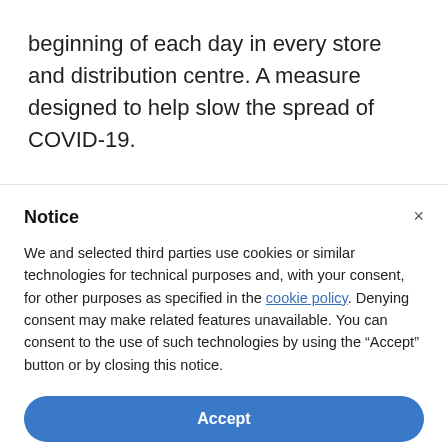beginning of each day in every store and distribution centre. A measure designed to help slow the spread of COVID-19.
Notice
We and selected third parties use cookies or similar technologies for technical purposes and, with your consent, for other purposes as specified in the cookie policy. Denying consent may make related features unavailable. You can consent to the use of such technologies by using the “Accept” button or by closing this notice.
Accept
Learn more and customise